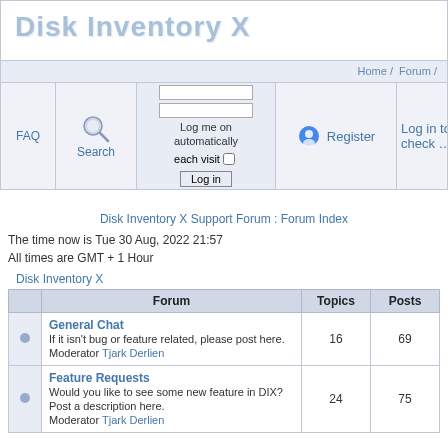Disk Inventory X
Home / Forum /
[Figure (screenshot): Navigation bar with FAQ, Search, Login form with username/password fields and 'Log me on automatically each visit' checkbox and Log in button, Register button, and Log in to check messages link]
Disk Inventory X Support Forum : Forum Index
The time now is Tue 30 Aug, 2022 21:57
All times are GMT + 1 Hour
Disk Inventory X
| Forum | Topics | Posts |
| --- | --- | --- |
| General Chat
If it isn't bug or feature related, please post here.
Moderator Tjark Derlien | 16 | 69 |
| Feature Requests
Would you like to see some new feature in DIX? Post a description here.
Moderator Tjark Derlien | 24 | 75 |